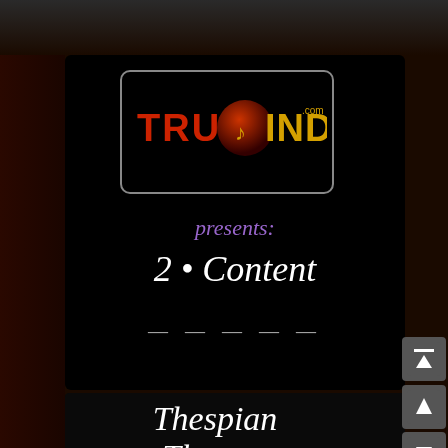[Figure (screenshot): TrueIndy.com logo on black background with rounded rectangle border, showing red 'TRUE' text, gold 'INDY' text, and dark red globe with music note]
presents:
2 • Content
Thespian Theater